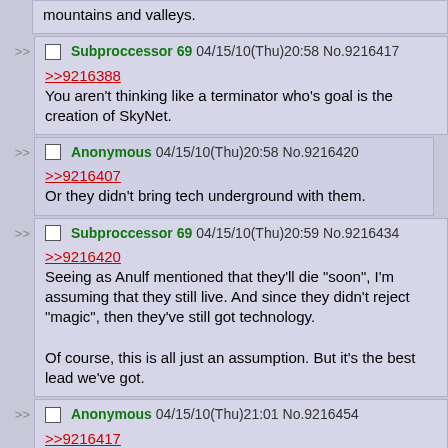mountains and valleys.
Subproccessor 69 04/15/10(Thu)20:58 No.9216417
>>9216388
You aren't thinking like a terminator who's goal is the creation of SkyNet.
Anonymous 04/15/10(Thu)20:58 No.9216420
>>9216407
Or they didn't bring tech underground with them.
Subproccessor 69 04/15/10(Thu)20:59 No.9216434
>>9216420
Seeing as Anulf mentioned that they'll die "soon", I'm assuming that they still live. And since they didn't reject "magic", then they've still got technology.

Of course, this is all just an assumption. But it's the best lead we've got.
Anonymous 04/15/10(Thu)21:01 No.9216454
>>9216417
Negative. Making full use of available human resources